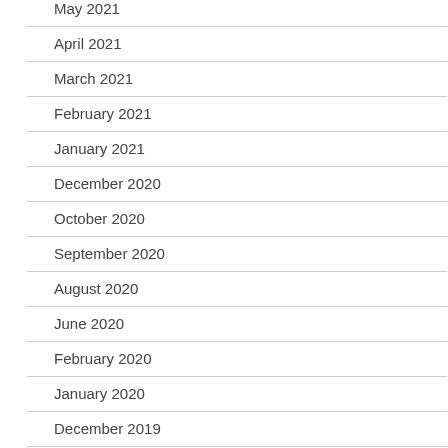May 2021
April 2021
March 2021
February 2021
January 2021
December 2020
October 2020
September 2020
August 2020
June 2020
February 2020
January 2020
December 2019
November 2019